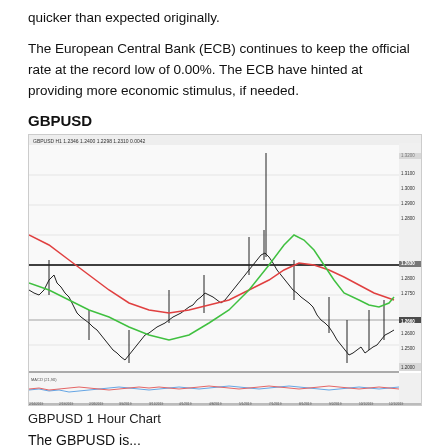quicker than expected originally.
The European Central Bank (ECB) continues to keep the official rate at the record low of 0.00%. The ECB have hinted at providing more economic stimulus, if needed.
GBPUSD
[Figure (continuous-plot): GBPUSD 1 Hour candlestick chart with two moving average lines (red and green), horizontal support/resistance lines, and a volume/momentum oscillator panel at the bottom. The price shows a large multi-month movement ranging approximately from 1.2000 to 1.3200.]
GBPUSD 1 Hour Chart
The GBPUSD is...